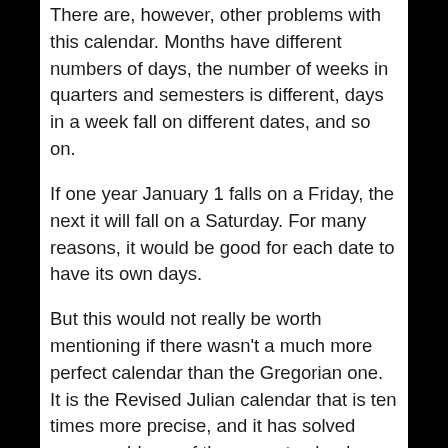There are, however, other problems with this calendar. Months have different numbers of days, the number of weeks in quarters and semesters is different, days in a week fall on different dates, and so on.
If one year January 1 falls on a Friday, the next it will fall on a Saturday. For many reasons, it would be good for each date to have its own days.
But this would not really be worth mentioning if there wasn't a much more perfect calendar than the Gregorian one. It is the Revised Julian calendar that is ten times more precise, and it has solved some problems of the current calendar. The New Julian calendar was compiled by Milutin Milanković. But we'll talk more about that some other time...